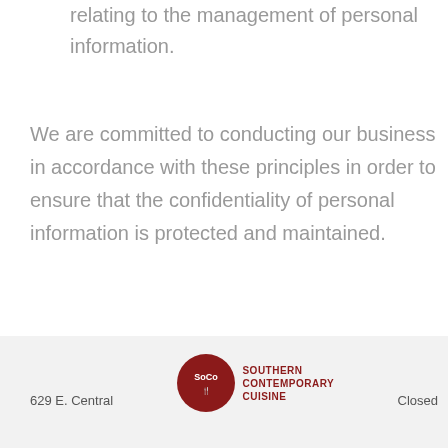relating to the management of personal information.
We are committed to conducting our business in accordance with these principles in order to ensure that the confidentiality of personal information is protected and maintained.
629 E. Central   [SoCo logo] SOUTHERN CONTEMPORARY CUISINE   Closed